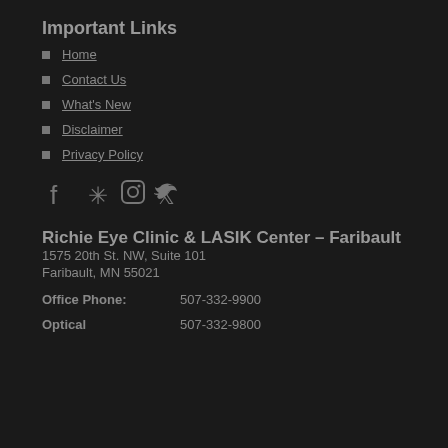Important Links
Home
Contact Us
What's New
Disclaimer
Privacy Policy
[Figure (illustration): Social media icons: Facebook, Yelp, Instagram, Twitter]
Richie Eye Clinic & LASIK Center – Faribault
1575 20th St. NW, Suite 101
Faribault, MN 55021
Office Phone: 507-332-9900
Optical 507-332-9800